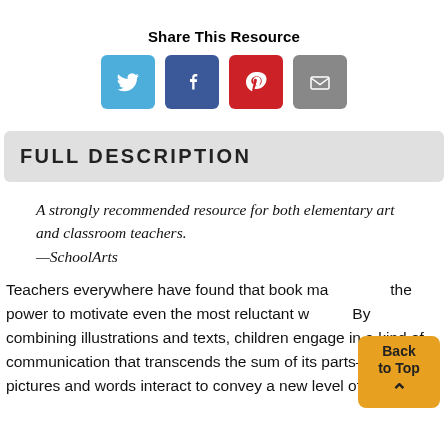Share This Resource
[Figure (other): Four social share buttons: Twitter (light blue), Facebook (dark blue), Pinterest (red), Email (gray)]
FULL DESCRIPTION
A strongly recommended resource for both elementary art and classroom teachers. —SchoolArts
Teachers everywhere have found that book making has the power to motivate even the most reluctant writers. By combining illustrations and texts, children engage in a kind of communication that transcends the sum of its parts—their pictures and words interact to convey a new level of meaning.